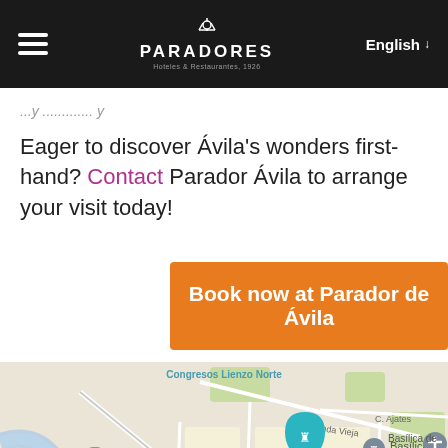PARADORES Hoteles & Restaurantes | English
Eager to discover Ávila's wonders first-hand? Contact Parador Ávila to arrange your visit today!
Book now at Parador de Ávila
[Figure (map): Google Maps screenshot showing Ávila city center with landmarks: Muralla de Ávila, Basílica de, Catedral de Ávi, Eladio restaurant, streets including Av. de Madrid, Ctra. Ronda Vieja, C. Ajates, Av. Portugal, C. Vallespin, C. Santo Domingo, C. los Telares, and map pins for various points of interest.]